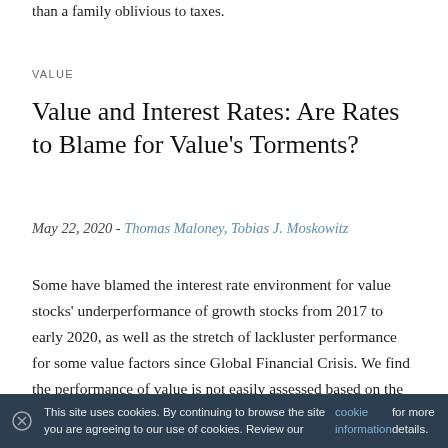than a family oblivious to taxes.
VALUE
Value and Interest Rates: Are Rates to Blame for Value's Torments?
May 22, 2020 - Thomas Maloney, Tobias J. Moskowitz
Some have blamed the interest rate environment for value stocks' underperformance of growth stocks from 2017 to early 2020, as well as the stretch of lackluster performance for some value factors since Global Financial Crisis. We find the performance of value is not easily assessed based on the interest rate
This site uses cookies. By continuing to browse the site you are agreeing to our use of cookies. Review our cookie information for more details.